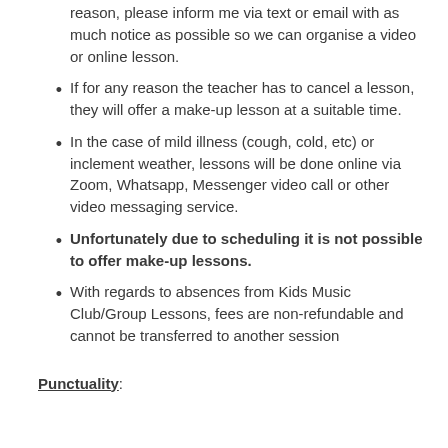reason, please inform me via text or email with as much notice as possible so we can organise a video or online lesson.
If for any reason the teacher has to cancel a lesson, they will offer a make-up lesson at a suitable time.
In the case of mild illness (cough, cold, etc) or inclement weather, lessons will be done online via Zoom, Whatsapp, Messenger video call or other video messaging service.
Unfortunately due to scheduling it is not possible to offer make-up lessons.
With regards to absences from Kids Music Club/Group Lessons, fees are non-refundable and cannot be transferred to another session
Punctuality: